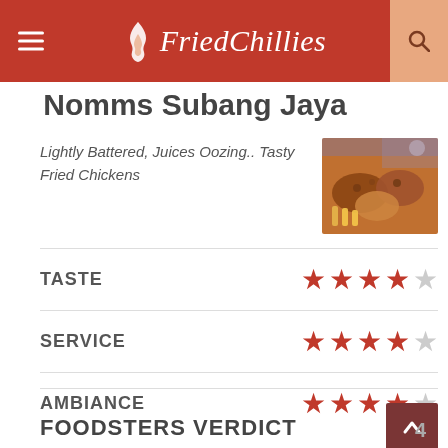FriedChillies
Nomms Subang Jaya
Lightly Battered, Juices Oozing.. Tasty Fried Chickens
[Figure (photo): Photo of fried chicken pieces with fries]
| Category | Rating |
| --- | --- |
| TASTE | 4/5 stars |
| SERVICE | 4/5 stars |
| AMBIANCE | 4/5 stars |
FOODSTERS VERDICT
4